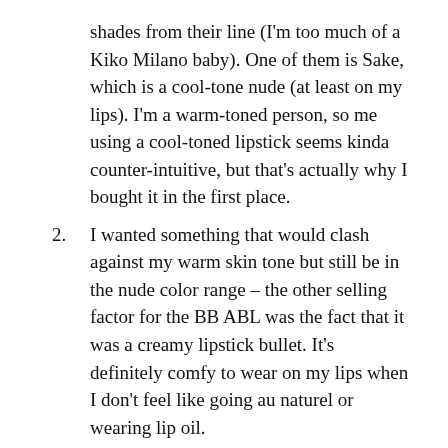shades from their line (I'm too much of a Kiko Milano baby). One of them is Sake, which is a cool-tone nude (at least on my lips). I'm a warm-toned person, so me using a cool-toned lipstick seems kinda counter-intuitive, but that's actually why I bought it in the first place.
2. I wanted something that would clash against my warm skin tone but still be in the nude color range – the other selling factor for the BB ABL was the fact that it was a creamy lipstick bullet. It's definitely comfy to wear on my lips when I don't feel like going au naturel or wearing lip oil.
The only downside is the price: at $26, it's definitely expensive for me to consistently buy. I'm sure the fact that it's 95% natural is a contributing factor to that, but it's not the only